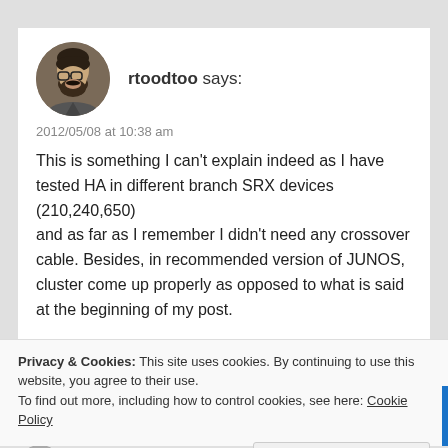[Figure (photo): Circular avatar photo of user rtoodtoo, showing a man with glasses and beard]
rtoodtoo says:
2012/05/08 at 10:38 am
This is something I can't explain indeed as I have tested HA in different branch SRX devices (210,240,650)
and as far as I remember I didn't need any crossover cable. Besides, in recommended version of JUNOS, cluster come up properly as opposed to what is said at the beginning of my post.
Privacy & Cookies: This site uses cookies. By continuing to use this website, you agree to their use.
To find out more, including how to control cookies, see here: Cookie Policy
Close and accept
dhana sekhar says: